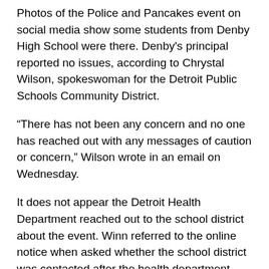Photos of the Police and Pancakes event on social media show some students from Denby High School were there. Denby's principal reported no issues, according to Chrystal Wilson, spokeswoman for the Detroit Public Schools Community District.
“There has not been any concern and no one has reached out with any messages of caution or concern,” Wilson wrote in an email on Wednesday.
It does not appear the Detroit Health Department reached out to the school district about the event. Winn referred to the online notice when asked whether the school district was contacted after the health department learned of the positive COVID-19 test result.
POLICE HEADQUARTERS TAKES A HIT